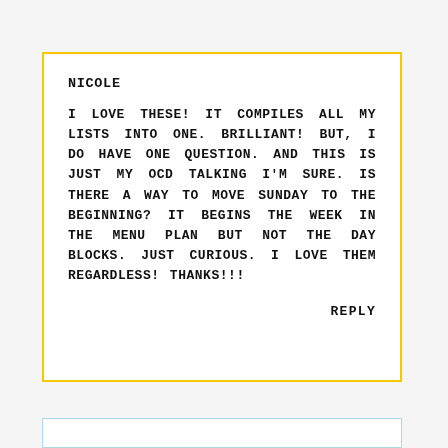NICOLE
I LOVE THESE! IT COMPILES ALL MY LISTS INTO ONE. BRILLIANT! BUT, I DO HAVE ONE QUESTION. AND THIS IS JUST MY OCD TALKING I'M SURE. IS THERE A WAY TO MOVE SUNDAY TO THE BEGINNING? IT BEGINS THE WEEK IN THE MENU PLAN BUT NOT THE DAY BLOCKS. JUST CURIOUS. I LOVE THEM REGARDLESS! THANKS!!!
REPLY